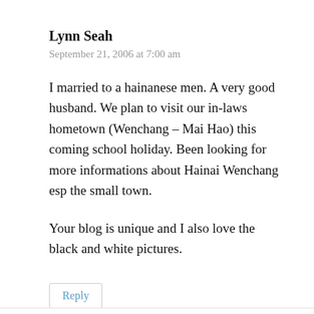Lynn Seah
September 21, 2006 at 7:00 am
I married to a hainanese men. A very good husband. We plan to visit our in-laws hometown (Wenchang – Mai Hao) this coming school holiday. Been looking for more informations about Hainai Wenchang esp the small town.

Your blog is unique and I also love the black and white pictures.
Reply